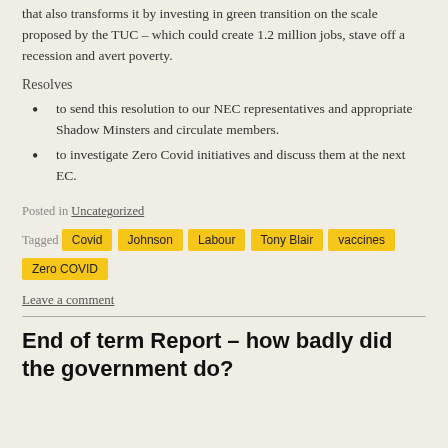that also transforms it by investing in green transition on the scale proposed by the TUC – which could create 1.2 million jobs, stave off a recession and avert poverty.
Resolves
to send this resolution to our NEC representatives and appropriate Shadow Minsters and circulate members.
to investigate Zero Covid initiatives and discuss them at the next EC.
Posted in Uncategorized
Tagged Covid Johnson Labour Tony Blair vaccines Zero COVID
Leave a comment
End of term Report – how badly did the government do?